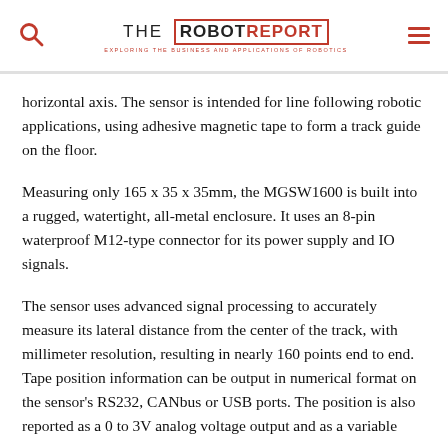THE ROBOT REPORT — EXPLORING THE BUSINESS AND APPLICATIONS OF ROBOTICS
horizontal axis. The sensor is intended for line following robotic applications, using adhesive magnetic tape to form a track guide on the floor.
Measuring only 165 x 35 x 35mm, the MGSW1600 is built into a rugged, watertight, all-metal enclosure. It uses an 8-pin waterproof M12-type connector for its power supply and IO signals.
The sensor uses advanced signal processing to accurately measure its lateral distance from the center of the track, with millimeter resolution, resulting in nearly 160 points end to end. Tape position information can be output in numerical format on the sensor's RS232, CANbus or USB ports. The position is also reported as a 0 to 3V analog voltage output and as a variable PWM output. Additionally, the sensor can report a digital output